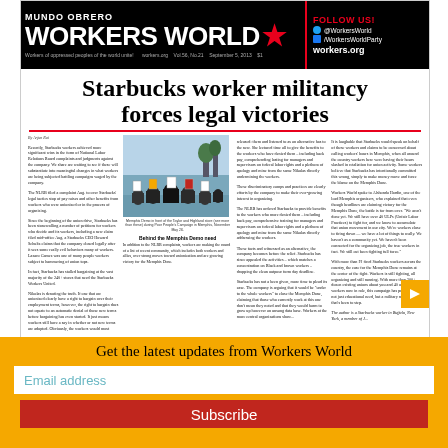MUNDO OBRERO WORKERS WORLD
Starbucks worker militancy forces legal victories
[Figure (photo): Memphis demo in front of the Taylor and Highland store. Protesters and allies gathering during Poor People's Campaign in Memphis, November May 26.]
Memphis Demo in front of the Taylor and Highland store (see more than these) during Poor People's Campaign in Memphis, November May 26.
By Arjun Rai. Recently, Starbucks workers achieved more significant wins in the form of National Labor Relations Board complaints and judgments against the company. We share are waiting to see if these will substantiate into meaningful changes in what workers are being subjected battling campaigns waged by the company.
Behind the Memphis Demo need
Get the latest updates from Workers World
Email address
Subscribe